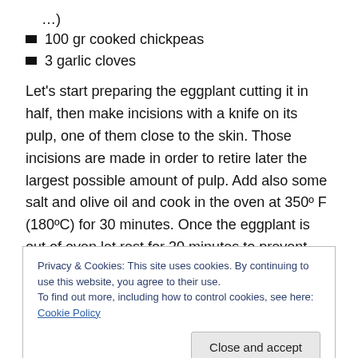…)
100 gr cooked chickpeas
3 garlic cloves
Let's start preparing the eggplant cutting it in half, then make incisions with a knife on its pulp, one of them close to the skin. Those incisions are made in order to retire later the largest possible amount of pulp. Add also some salt and olive oil and cook in the oven at 350º F (180ºC) for 30 minutes. Once the eggplant is out of oven let rest for 20 minutes to prevent burning your finger while
Privacy & Cookies: This site uses cookies. By continuing to use this website, you agree to their use.
To find out more, including how to control cookies, see here: Cookie Policy
add the onion, tomato and eggplant pulp. Stir it and add